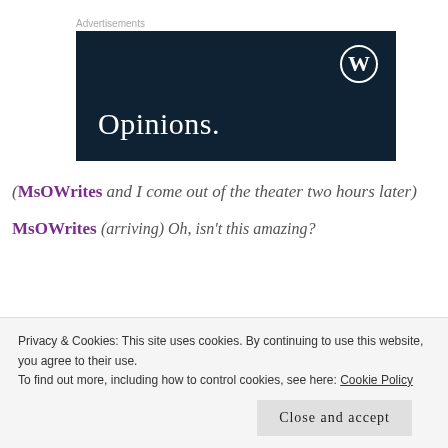Advertisements
[Figure (other): WordPress.com advertisement banner with dark navy background, WordPress logo (W in circle) top right, and text 'Opinions.' in white serif font at bottom left.]
(MsOWrites and I come out of the theater two hours later)
MsOWrites (arriving) Oh, isn't this amazing?
Privacy & Cookies: This site uses cookies. By continuing to use this website, you agree to their use.
To find out more, including how to control cookies, see here: Cookie Policy
Close and accept